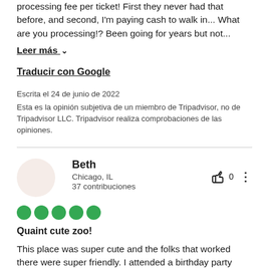processing fee per ticket! First they never had that before, and second, I'm paying cash to walk in... What are you processing!? Been going for years but not...
Leer más ∨
Traducir con Google
Escrita el 24 de junio de 2022
Esta es la opinión subjetiva de un miembro de Tripadvisor, no de Tripadvisor LLC. Tripadvisor realiza comprobaciones de las opiniones.
Beth
Chicago, IL
37 contribuciones
[Figure (other): Five green filled circles representing a 5-star rating]
Quaint cute zoo!
This place was super cute and the folks that worked there were super friendly. I attended a birthday party here, and it was the first time I have ever been to this